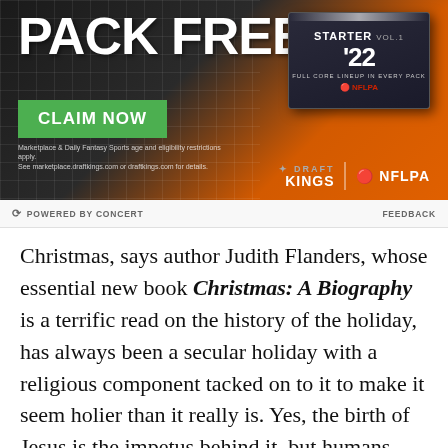[Figure (photo): DraftKings advertisement banner with dark background, orange gradient, grid overlay, 'PACK FREE.' headline in white bold text, green 'CLAIM NOW' button, Starter Vol. 1 '22 card pack box on the right, DraftKings and NFLPA logos at bottom, disclaimer text at bottom left]
POWERED BY CONCERT   FEEDBACK
Christmas, says author Judith Flanders, whose essential new book Christmas: A Biography is a terrific read on the history of the holiday, has always been a secular holiday with a religious component tacked on to it to make it seem holier than it really is. Yes, the birth of Jesus is the impetus behind it, but humans have always celebrated the dead of winter with massive festivals featuring copious consumption.